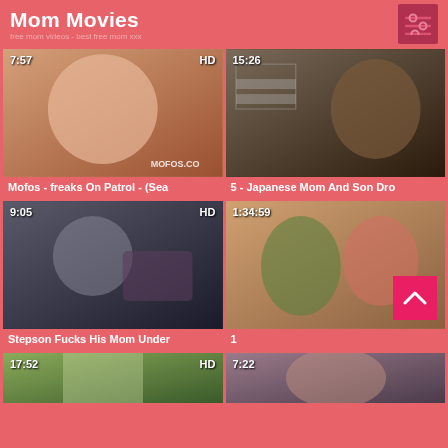Mom Movies
[Figure (screenshot): Video thumbnail grid showing adult video listings with thumbnails, duration badges, HD badges, and titles. Row 1: 'Mofos - freaks On Patrol - (Sea' (7:57, HD), '5 - Japanese Mom And Son Dro' (15:26). Row 2: 'Stepson Fucks His Mom Under' (9:05, HD), '1' (1:34:59). Row 3: partial thumbnails (17:52 HD, 7:22).]